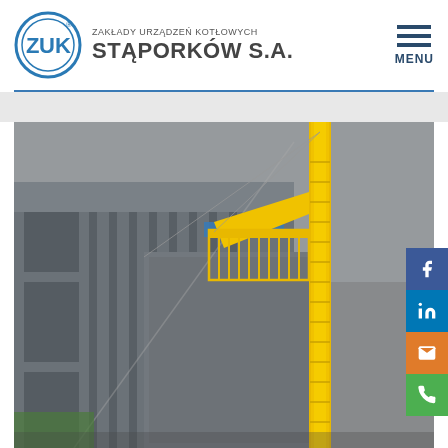ZAKŁADY URZĄDZEŃ KOTŁOWYCH STĄPORKÓW S.A.
[Figure (logo): ZUK circular logo with stylized Z U K letters inside a circle, blue outline]
[Figure (photo): Industrial photo showing a tall yellow crane arm and large grey industrial building/boiler unit structure photographed from below against an overcast sky]
[Figure (other): Social media sidebar with Facebook, LinkedIn, email, and phone icons]